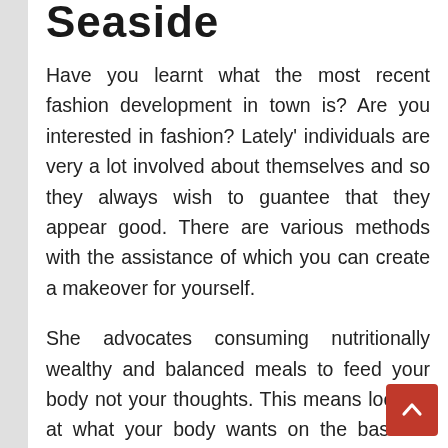Seaside
Have you learnt what the most recent fashion development in town is? Are you interested in fashion? Lately' individuals are very a lot involved about themselves and so they always wish to guantee that they appear good. There are various methods with the assistance of which you can create a makeover for yourself.
She advocates consuming nutritionally wealthy and balanced meals to feed your body not your thoughts. This means looking at what your body wants on the basis of daily dietary wants, which is able to include a lot of fruit and vegetables, as opposed to what your thoughts needs, chocolate, burgers, chips and many